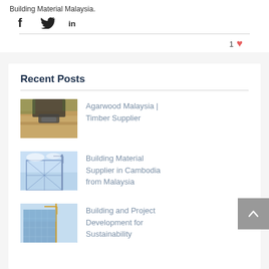Building Material Malaysia.
f  [twitter]  in
1 [heart/like]
Recent Posts
Agarwood Malaysia | Timber Supplier
[Figure (photo): Person using a power tool on wood plank]
Building Material Supplier in Cambodia from Malaysia
[Figure (photo): Construction site with steel scaffolding and cranes under blue sky]
Building and Project Development for Sustainability
[Figure (photo): Modern glass building with crane]